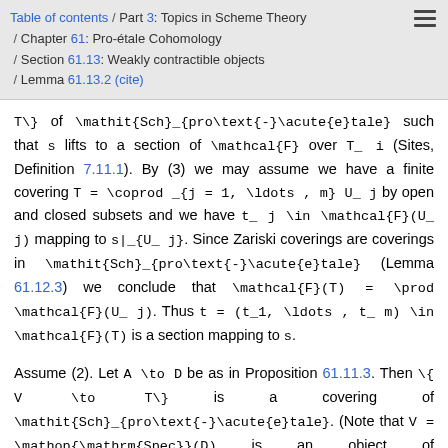Table of contents / Part 3: Topics in Scheme Theory / Chapter 61: Pro-étale Cohomology / Section 61.13: Weakly contractible objects / Lemma 61.13.2 (cite)
T\} of \mathit{Sch}_{pro\text{-}\acute{e}tale} such that s lifts to a section of \mathcal{F} over T_ i (Sites, Definition 7.11.1). By (3) we may assume we have a finite covering T = \coprod _{j = 1, \ldots , m} U_ j by open and closed subsets and we have t_ j \in \mathcal{F}(U_ j) mapping to s|_{U_ j}. Since Zariski coverings are coverings in \mathit{Sch}_{pro\text{-}\acute{e}tale} (Lemma 61.12.3) we conclude that \mathcal{F}(T) = \prod \mathcal{F}(U_ j). Thus t = (t_1, \ldots , t_ m) \in \mathcal{F}(T) is a section mapping to s.
Assume (2). Let A \to D be as in Proposition 61.11.3. Then \{ V \to T\} is a covering of \mathit{Sch}_{pro\text{-}\acute{e}tale}. (Note that V = \mathop{\mathrm{Spec}}(D) is an object of \mathit{Sch}_{pro\text{-}\acute{e}tale} by Remark 61.11.4 combined with our choice of the function Bound in Definition 61.12.7 and the computation of the size of affine schemes in Sets, Lemma ( 5 ). Since the topology on